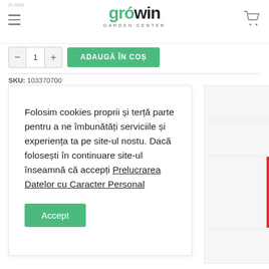growin GARDEN CENTER
In stoc
ADAUGĂ ÎN COȘ
SKU: 103370700
Folosim cookies proprii și terță parte pentru a ne îmbunătăți serviciile și experiența ta pe site-ul nostu. Dacă folosești în continuare site-ul înseamnă că accepți Prelucrarea Datelor cu Caracter Personal
Accept